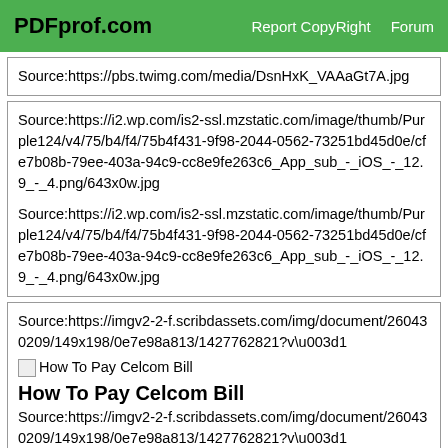PDFprof.com   Report CopyRight   Forum
Source:https://pbs.twimg.com/media/DsnHxK_VAAaGt7A.jpg
Source:https://i2.wp.com/is2-ssl.mzstatic.com/image/thumb/Purple124/v4/75/b4/f4/75b4f431-9f98-2044-0562-73251bd45d0e/cfe7b08b-79ee-403a-94c9-cc8e9fe263c6_App_sub_-_iOS_-_12.9_-_4.png/643x0w.jpg

Source:https://i2.wp.com/is2-ssl.mzstatic.com/image/thumb/Purple124/v4/75/b4/f4/75b4f431-9f98-2044-0562-73251bd45d0e/cfe7b08b-79ee-403a-94c9-cc8e9fe263c6_App_sub_-_iOS_-_12.9_-_4.png/643x0w.jpg
Source:https://imgv2-2-f.scribdassets.com/img/document/260430209/149x198/0e7e98a813/1427762821?v\u003d1
[How To Pay Celcom Bill]
How To Pay Celcom Bill
Source:https://imgv2-2-f.scribdassets.com/img/document/260430209/149x198/0e7e98a813/1427762821?v\u003d1
Source: Payments [bill